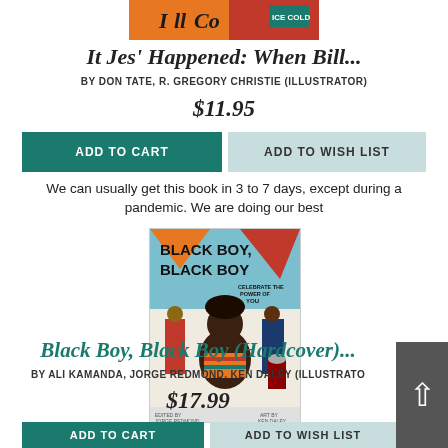[Figure (photo): Partial top view of a book cover with orange, yellow, and red illustrated elements]
It Jes' Happened: When Bill...
BY DON TATE, R. GREGORY CHRISTIE (ILLUSTRATOR)
$11.95
ADD TO CART
ADD TO WISH LIST
We can usually get this book in 3 to 7 days, except during a pandemic. We are doing our best
[Figure (photo): Book cover of 'Black Boy, Black Boy' showing an illustrated Black boy in a striped shirt with adults in background and text 'Celebrate the Power of You']
Black Boy, Black Boy (Hardcover)...
BY ALI KAMANDA, JORGE REDMOND, KEN DALEY (ILLUSTRATO
$17.99
ADD TO CART
ADD TO WISH LIST